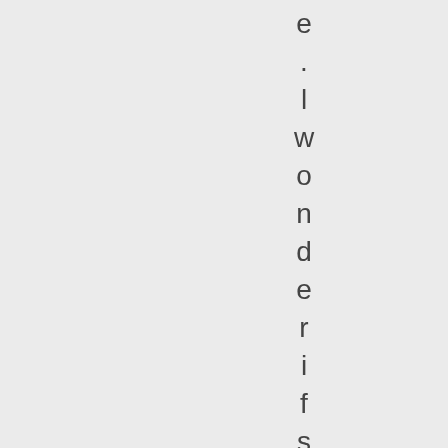e . l w o n d e r i f s c h o o